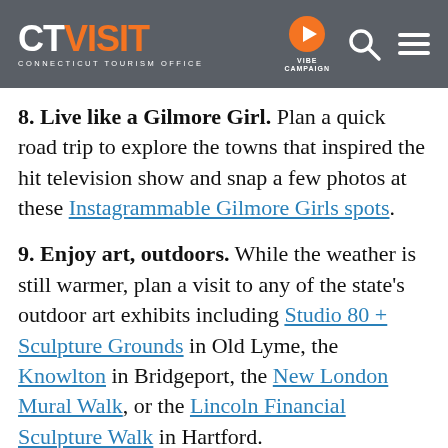CT VISIT - Connecticut Tourism Office | VIBE CAMPAIGN
8. Live like a Gilmore Girl. Plan a quick road trip to explore the towns that inspired the hit television show and snap a few photos at these Instagrammable Gilmore Girls spots.
9. Enjoy art, outdoors. While the weather is still warmer, plan a visit to any of the state's outdoor art exhibits including Studio 80 + Sculpture Grounds in Old Lyme, the Knowlton in Bridgeport, the New London Mural Walk, or the Lincoln Financial Sculpture Walk in Hartford.
10. Immerse yourself in history. No matter the topic,